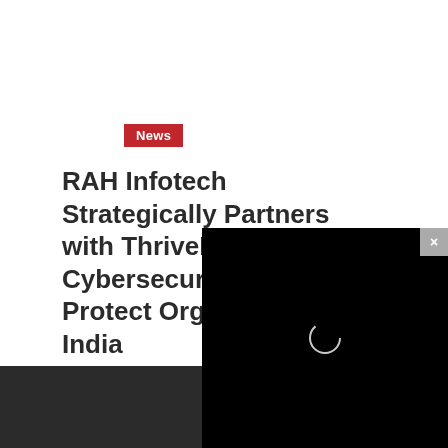News
RAH Infotech Strategically Partners with ThriveDX to Offer Cybersecurity Training to Protect Organizations in India
12 hours ago  Saumya Sharma
[Figure (screenshot): Black video overlay panel with a loading spinner circle in the center and a close (×) button in the top-right corner]